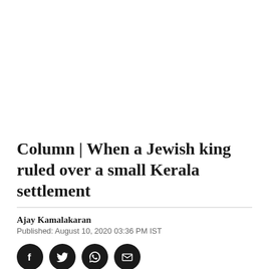Column | When a Jewish king ruled over a small Kerala settlement
Ajay Kamalakaran
Published: August 10, 2020 03:36 PM IST
[Figure (infographic): Four social media sharing icons (Facebook, Twitter, WhatsApp, Email) as dark circular buttons]